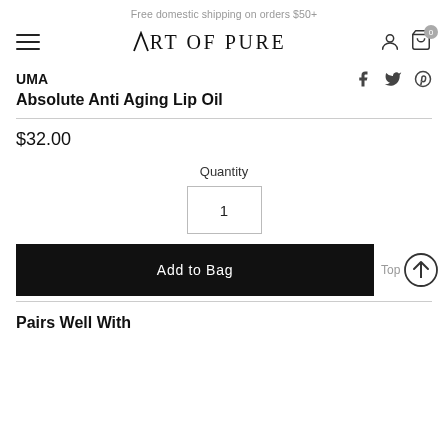Free domestic shipping on orders $50+
[Figure (logo): Art of Pure logo with hamburger menu, user icon, and cart icon with badge 0]
UMA
[Figure (other): Social share icons: Facebook, Twitter, Pinterest]
Absolute Anti Aging Lip Oil
$32.00
Quantity
1
Add to Bag
Pairs Well With